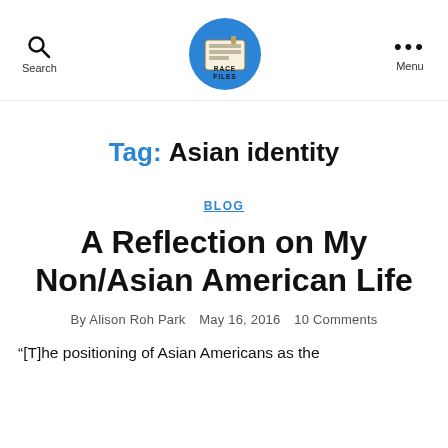Search | Race Files | Menu
Tag: Asian identity
BLOG
A Reflection on My Non/Asian American Life
By Alison Roh Park   May 16, 2016   10 Comments
“[T]he positioning of Asian Americans as the